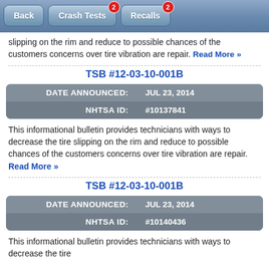Back | Crash Tests (2) | Recalls (2)
slipping on the rim and reduce to possible chances of the customers concerns over tire vibration are repair. Read More »
TSB #12-03-10-001B
| Field | Value |
| --- | --- |
| DATE ANNOUNCED: | JUL 23, 2014 |
| NHTSA ID: | #10137841 |
This informational bulletin provides technicians with ways to decrease the tire slipping on the rim and reduce to possible chances of the customers concerns over tire vibration are repair. Read More »
TSB #12-03-10-001B
| Field | Value |
| --- | --- |
| DATE ANNOUNCED: | JUL 23, 2014 |
| NHTSA ID: | #10140436 |
This informational bulletin provides technicians with ways to decrease the tire